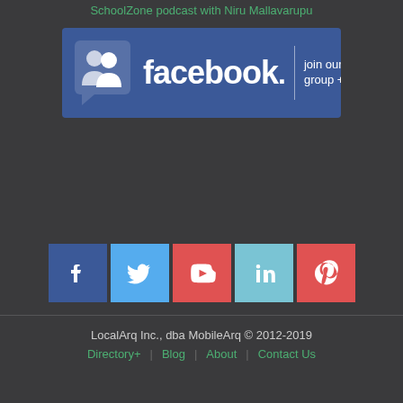SchoolZone podcast with Niru Mallavarupu
[Figure (logo): Facebook 'join our group +' banner in blue with Facebook logo, silhouette of two people icon, and text 'facebook. join our group +']
[Figure (infographic): Row of five social media icon buttons: Facebook (dark blue), Twitter (light blue), YouTube (red), LinkedIn (light blue), Pinterest (red)]
LocalArq Inc., dba MobileArq © 2012-2019
Directory+ | Blog | About | Contact Us